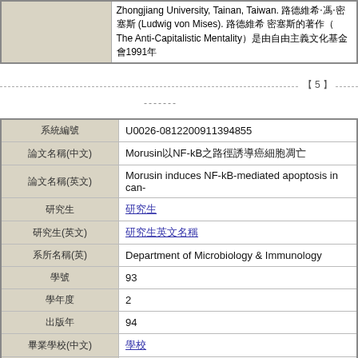Zhongjiang University, Tainan, Taiwan. (The Anti-Capitalistic Mentality) 1991
【5】
| Label | Value |
| --- | --- |
| 系統編號 | U0026-0812200911394855 |
| 論文名稱(中文) | Morusin以NF-kB之路徑誘導癌細胞凋亡 |
| 論文名稱(英文) | Morusin induces NF-kB-mediated apoptosis in can- |
| 研究生 | 研究生 |
| 研究生(英文) | 研究生英文名 |
| 系所名稱(英) | Department of Microbiology & Immunology |
| 學號 | 93 |
| 學年度 | 2 |
| 出版年 | 94 |
| 畢業學校(中文) | 學校 |
| 備註 | s4692403 |